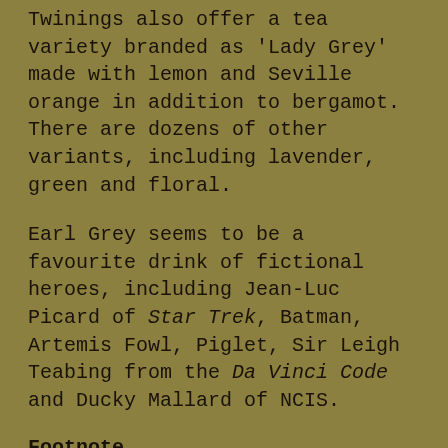Twinings also offer a tea variety branded as 'Lady Grey' made with lemon and Seville orange in addition to bergamot. There are dozens of other variants, including lavender, green and floral.
Earl Grey seems to be a favourite drink of fictional heroes, including Jean-Luc Picard of Star Trek, Batman, Artemis Fowl, Piglet, Sir Leigh Teabing from the Da Vinci Code and Ducky Mallard of NCIS.
Footnote
1 William Grey's shop was at 32 Bridge Street [now TUI travel agents] from at least 1853. In 1871 he employed seven men and one boy at the shop and was a Town Councillor. In 1887 Robert Donkin was